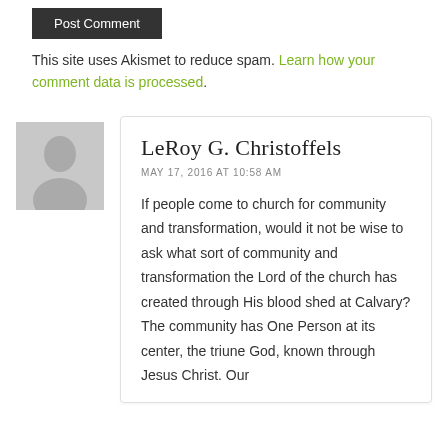[Figure (other): Dark/black submit button]
This site uses Akismet to reduce spam. Learn how your comment data is processed.
[Figure (illustration): Grey avatar placeholder silhouette icon]
LeRoy G. Christoffels
MAY 17, 2016 AT 10:58 AM
If people come to church for community and transformation, would it not be wise to ask what sort of community and transformation the Lord of the church has created through His blood shed at Calvary? The community has One Person at its center, the triune God, known through Jesus Christ. Our